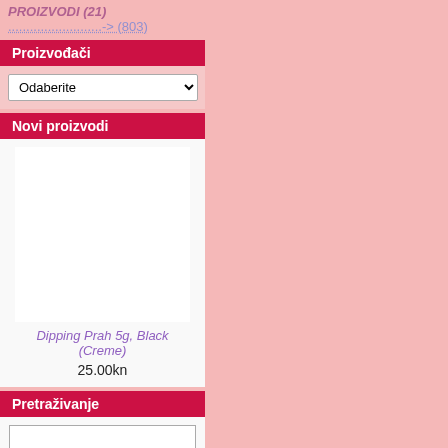PROIZVODI (21)
..........................-> (803)
Proizvođači
Odaberite
Novi proizvodi
[Figure (photo): Product image placeholder for Dipping Prah 5g, Black (Creme)]
Dipping Prah 5g, Black (Creme)
25.00kn
Pretraživanje
Upišite riječi koje želite pretražiti.
Napredno pretraživanje
Informacije
O nama
Postavke povrat